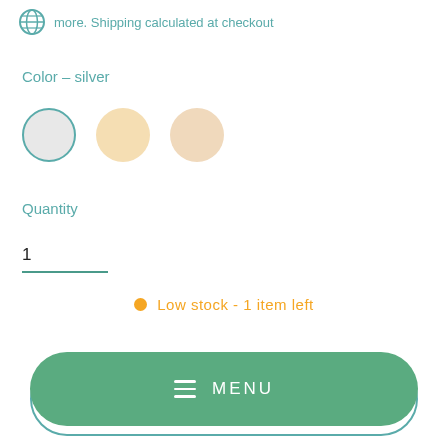more. Shipping calculated at checkout
Color – silver
[Figure (other): Three circular color swatches: silver (selected, with teal border), light gold/champagne, and light rose/beige]
Quantity
1
Low stock - 1 item left
MENU